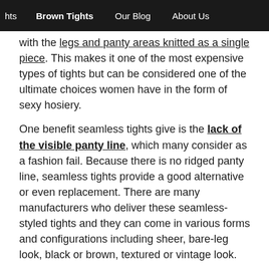hts   Brown Tights   Our Blog   About Us
with the legs and panty areas knitted as a single piece. This makes it one of the most expensive types of tights but can be considered one of the ultimate choices women have in the form of sexy hosiery.

One benefit seamless tights give is the lack of the visible panty line, which many consider as a fashion fail. Because there is no ridged panty line, seamless tights provide a good alternative or even replacement. There are many manufacturers who deliver these seamless-styled tights and they can come in various forms and configurations including sheer, bare-leg look, black or brown, textured or vintage look.
3. Support Tights
What many in the past consider a “glamorous granny” piece of clothing, support tights have evolved through the years